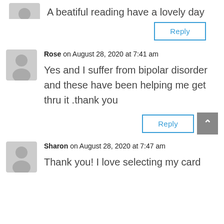[Figure (illustration): Gray avatar silhouette icon (partial, top of page)]
A beatiful reading have a lovely day
Reply
[Figure (illustration): Gray avatar silhouette icon for Rose]
Rose on August 28, 2020 at 7:41 am
Yes and I suffer from bipolar disorder and these have been helping me get thru it .thank you
Reply
[Figure (illustration): Gray avatar silhouette icon for Sharon]
Sharon on August 28, 2020 at 7:47 am
Thank you! I love selecting my card